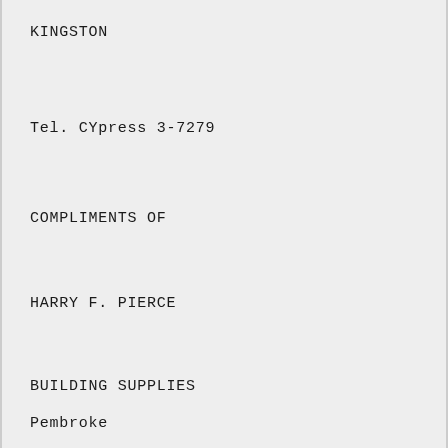KINGSTON
Tel. CYpress 3-7279
COMPLIMENTS OF
HARRY F. PIERCE
BUILDING SUPPLIES
Pembroke